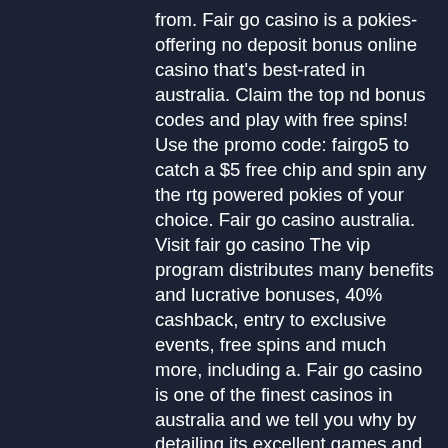from. Fair go casino is a pokies-offering no deposit bonus online casino that's best-rated in australia. Claim the top nd bonus codes and play with free spins! Use the promo code: fairgo5 to catch a $5 free chip and spin any the rtg powered pokies of your choice. Fair go casino australia. Visit fair go casino The vip program distributes many benefits and lucrative bonuses, 40% cashback, entry to exclusive events, free spins and much more, including a. Fair go casino is one of the finest casinos in australia and we tell you why by detailing its excellent games and bonuses, including no deposit bonus. Are fair go casino™ no deposit bonuses legit? ► review updated apr 16, 2022 ✓ 30 no deposit free spins on cash bandits 2 ✓ withdraw winnings instantly! Play online pokies at fairgo casino and win the jackpot! best no deposit bonus codes and free spins in our casino review for aussie players. Fair